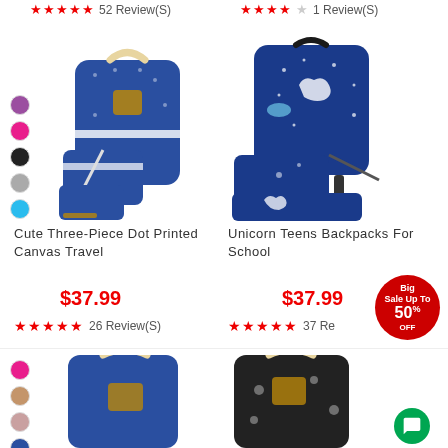★★★★★ 52 Review(S)
★★★★☆ 1 Review(S)
[Figure (photo): Blue dot-printed canvas backpack set with crossbody bag and wallet, color swatches on left (purple, pink, black, gray, blue)]
[Figure (photo): Blue unicorn-print backpack set for teens with lunch bag and pencil case]
Cute Three-Piece Dot Printed Canvas Travel
Unicorn Teens Backpacks For School
$37.99
$37.99
Big Sale Up To 50% OFF
★★★★★ 26 Review(S)
★★★★★ 37 Re...
[Figure (photo): Partial view of blue canvas backpack at bottom left, with color swatches (pink, tan, rose, navy)]
[Figure (photo): Partial view of black floral-print backpack at bottom right]